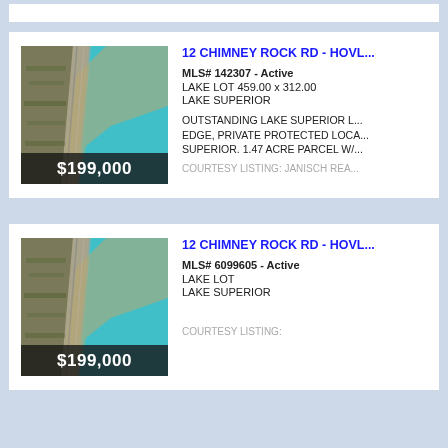[Figure (photo): Aerial photo of Lake Superior shoreline with turquoise water and sandy/rocky beach area with road, price overlay $199,000]
12 CHIMNEY ROCK RD - HOVL...
MLS# 142307 - Active
LAKE LOT 459.00 x 312.00
LAKE SUPERIOR

OUTSTANDING LAKE SUPERIOR L... EDGE, PRIVATE PROTECTED LOCA... SUPERIOR. 1.47 ACRE PARCEL W/...
COURTESY LISTING: JANISCH REA...
[Figure (photo): Aerial photo of Lake Superior shoreline with turquoise water and sandy/rocky beach area with road, price overlay $199,000]
12 CHIMNEY ROCK RD - HOVL...
MLS# 6099605 - Active
LAKE LOT
LAKE SUPERIOR
COURTESY LISTING: